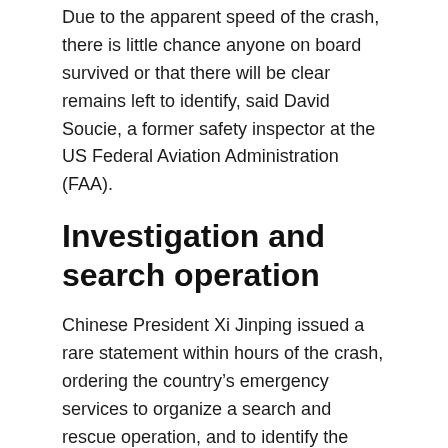Due to the apparent speed of the crash, there is little chance anyone on board survived or that there will be clear remains left to identify, said David Soucie, a former safety inspector at the US Federal Aviation Administration (FAA).
Investigation and search operation
Chinese President Xi Jinping issued a rare statement within hours of the crash, ordering the country's emergency services to organize a search and rescue operation, and to identify the cause of the crash.
“The fact that the President made such a pronounced and quick response to this tells me that they’re taking it very, very seriously,” Soucie said.